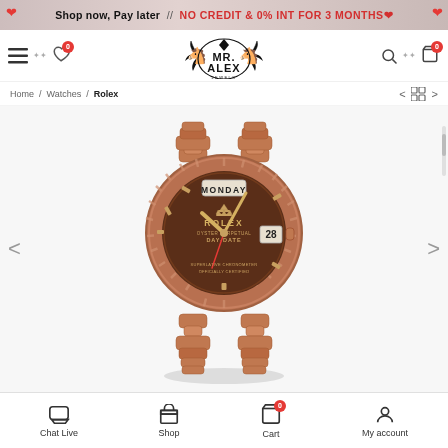Shop now, Pay later // NO CREDIT & 0% INT FOR 3 MONTHS
[Figure (logo): Mr. Alex Jewels logo with two horses and diamond emblem]
Home / Watches / Rolex
[Figure (photo): Rolex Oyster Perpetual Day-Date watch in rose gold with chocolate dial showing MONDAY and date 28, with president bracelet]
Chat Live   Shop   Cart   My account